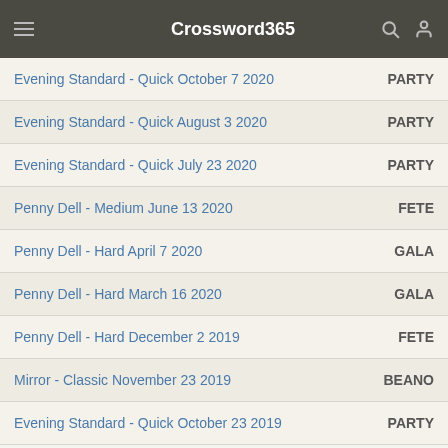Crossword365
| Crossword | Answer |
| --- | --- |
| Evening Standard - Quick October 7 2020 | PARTY |
| Evening Standard - Quick August 3 2020 | PARTY |
| Evening Standard - Quick July 23 2020 | PARTY |
| Penny Dell - Medium June 13 2020 | FETE |
| Penny Dell - Hard April 7 2020 | GALA |
| Penny Dell - Hard March 16 2020 | GALA |
| Penny Dell - Hard December 2 2019 | FETE |
| Mirror - Classic November 23 2019 | BEANO |
| Evening Standard - Quick October 23 2019 | PARTY |
✓